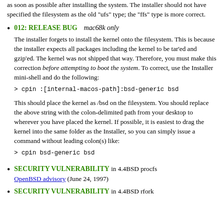as soon as possible after installing the system. The installer should not have specified the filesystem as the old "ufs" type; the "ffs" type is more correct.
012: RELEASE BUG  mac68k only
The installer forgets to install the kernel onto the filesystem. This is because the installer expects all packages including the kernel to be tar'ed and gzip'ed. The kernel was not shipped that way. Therefore, you must make this correction before attempting to boot the system. To correct, use the Installer mini-shell and do the following:
> cpin :[internal-macos-path]:bsd-generic bsd
This should place the kernel as /bsd on the filesystem. You should replace the above string with the colon-delimited path from your desktop to wherever you have placed the kernel. If possible, it is easiest to drag the kernel into the same folder as the Installer, so you can simply issue a command without leading colon(s) like:
> cpin bsd-generic bsd
SECURITY VULNERABILITY in 4.4BSD procfs OpenBSD advisory (June 24, 1997)
SECURITY VULNERABILITY in 4.4BSD rfork